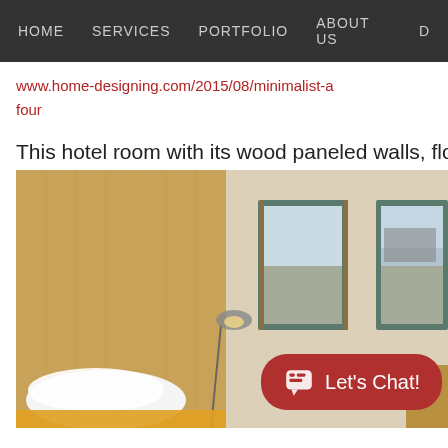HOME   SERVICES   PORTFOLIO   ABOUT US   D
www.home-designing.com/2015/08/minimalist-a four
This hotel room with its wood paneled walls, floo
[Figure (photo): Hotel room with wood paneled walls, floor lamp, white pillows, windows with roller blinds, and a Let's Chat! overlay button]